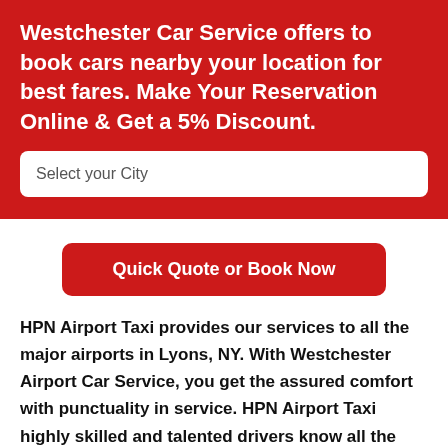Westchester Car Service offers to book cars nearby your location for best fares. Make Your Reservation Online & Get a 5% Discount.
Select your City
Quick Quote or Book Now
HPN Airport Taxi provides our services to all the major airports in Lyons, NY. With Westchester Airport Car Service, you get the assured comfort with punctuality in service. HPN Airport Taxi highly skilled and talented drivers know all the nooks and corners of Lyons, NY and thus make sure to drop you to the desired destination right on time.